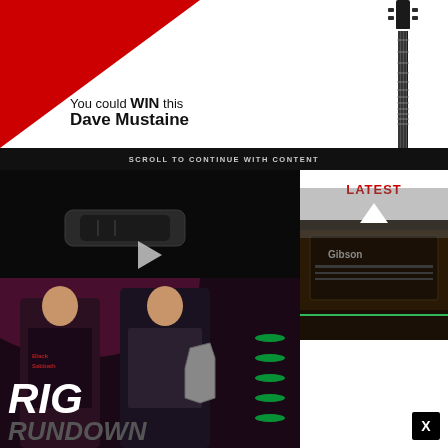[Figure (photo): Advertisement banner: red triangle on white background with guitar neck image. Text reads 'You could WIN this Dave Mustaine']
SCROLL TO CONTINUE WITH CONTENT
[Figure (screenshot): Video player showing a dark image of a guitar pedal with a play button overlay]
LATEST
[Figure (photo): Photo of two musicians, one wearing a Black Sabbath shirt holding a guitar, green stage lights in background. Rig Rundown text overlay. Close button X in corner.]